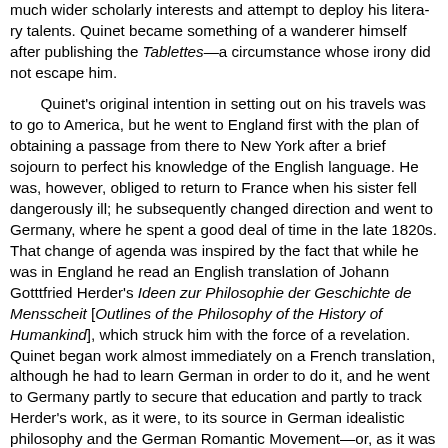much wider scholarly interests and attempt to deploy his literary talents. Quinet became something of a wanderer himself after publishing the Tablettes—a circumstance whose irony did not escape him.
Quinet's original intention in setting out on his travels was to go to America, but he went to England first with the plan of obtaining a passage from there to New York after a brief sojourn to perfect his knowledge of the English language. He was, however, obliged to return to France when his sister fell dangerously ill; he subsequently changed direction and went to Germany, where he spent a good deal of time in the late 1820s. That change of agenda was inspired by the fact that while he was in England he read an English translation of Johann Gotttfried Herder's Ideen zur Philosophie der Geschichte de Mensscheit [Outlines of the Philosophy of the History of Humankind], which struck him with the force of a revelation. Quinet began work almost immediately on a French translation, although he had to learn German in order to do it, and he went to Germany partly to secure that education and partly to track Herder's work, as it were, to its source in German idealistic philosophy and the German Romantic Movement—or, as it was represented in Herder's day, as the Sturm und Drang [Storm and Stress], movements.